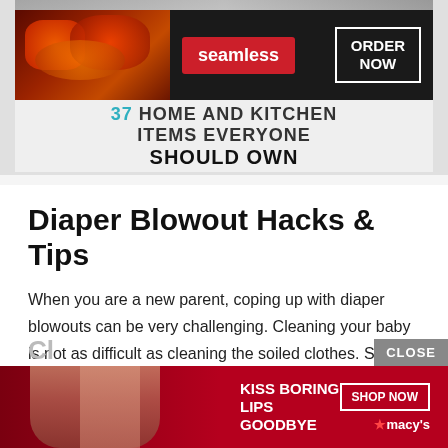[Figure (screenshot): Top advertisement banner area with Seamless food delivery ad (dark background with seamless logo in red and ORDER NOW button) and a '37 HOME AND KITCHEN ITEMS EVERYONE SHOULD OWN' promotional image below it]
Diaper Blowout Hacks & Tips
When you are a new parent, coping up with diaper blowouts can be very challenging. Cleaning your baby is not as difficult as cleaning the soiled clothes. So, let’s discuss a few hacks and tips to clean the mess.
[Figure (screenshot): Bottom advertisement banner for Macy's cosmetics: 'KISS BORING LIPS GOODBYE' with SHOP NOW button and Macy's star logo, with woman's photo]
Cl